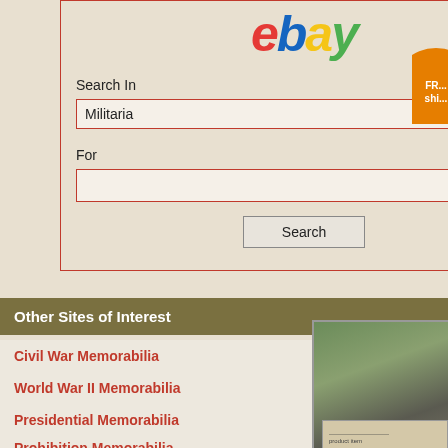[Figure (screenshot): eBay search widget with 'Search In' dropdown set to 'Militaria' and a 'For' text input field with a Search button]
Other Sites of Interest
Civil War Memorabilia
World War II Memorabilia
Presidential Memorabilia
Prohibition Memorabilia
Antique CDV Photos
Firefighting Memorabilia
[Figure (photo): Product photo showing a decorative box or container on stone pavers with foliage in background]
Buy
[Figure (other): Orange circular Free Shipping badge (partially visible, top right)]
[Figure (other): Orange circular Free Shipping badge (partially visible, bottom right)]